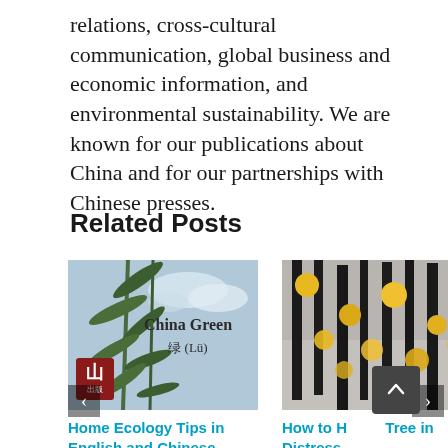relations, cross-cultural communication, global business and economic information, and environmental sustainability. We are known for our publications about China and for our partnerships with Chinese presses.
Related Posts
[Figure (photo): Book cover image: China Green 绿 (Lü) with bamboo leaves against cloudy sky, with a red publisher logo badge at bottom left]
Home Ecology Tips in English and Chinese
[Figure (photo): Black and white forest photo with yellow aspen leaves scattered among dark tree trunks]
How to Help a Tree in Distress
January 21st, 2022 | 0